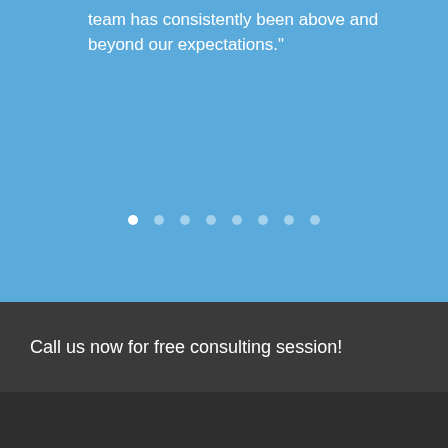team has consistently been above and beyond our expectations."
[Figure (other): Carousel navigation dots — 8 dots with the first one active (white) and the rest semi-transparent]
Call us now for free consulting session!